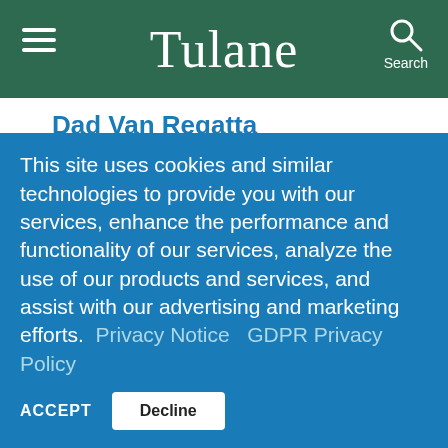Tulane
Dad Van Regatta
12:00 pm to 1:00 pm
Uptown Campus, Fairmount Park Athletic Field
EVENT DETAILS »
Tuesday, May 10
This site uses cookies and similar technologies to provide you with our services, enhance the performance and functionality of our services, analyze the use of our products and services, and assist with our advertising and marketing efforts. Privacy Notice  GDPR Privacy Policy
ACCEPT  Decline